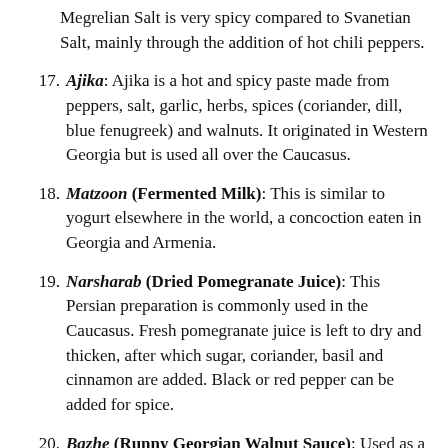Megrelian Salt is very spicy compared to Svanetian Salt, mainly through the addition of hot chili peppers.
17. Ajika: Ajika is a hot and spicy paste made from peppers, salt, garlic, herbs, spices (coriander, dill, blue fenugreek) and walnuts. It originated in Western Georgia but is used all over the Caucasus.
18. Matzoon (Fermented Milk): This is similar to yogurt elsewhere in the world, a concoction eaten in Georgia and Armenia.
19. Narsharab (Dried Pomegranate Juice): This Persian preparation is commonly used in the Caucasus. Fresh pomegranate juice is left to dry and thicken, after which sugar, coriander, basil and cinnamon are added. Black or red pepper can be added for spice.
20. Bazhe (Runny Georgian Walnut Sauce): Used as a